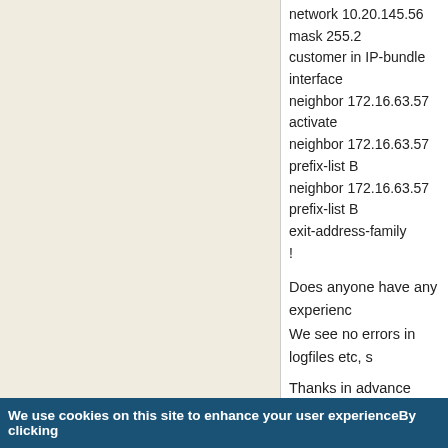network 10.20.145.56 mask 255.2...
customer in IP-bundle interface
neighbor 172.16.63.57 activate
neighbor 172.16.63.57 prefix-list B...
neighbor 172.16.63.57 prefix-list B...
exit-address-family
!
Does anyone have any experience...
We see no errors in logfiles etc, s...
Thanks in advance
Top
Fri, 11/19/2021 - 03:18
Garnez
Bump
Are we the only ones to have com...
even using BGP on the Casa C32...
We use cookies on this site to enhance your user experienceBy clicking